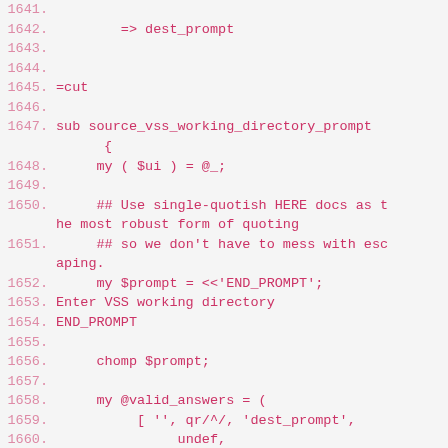Code listing lines 1641-1662, Perl source code showing sub source_vss_working_directory_prompt function